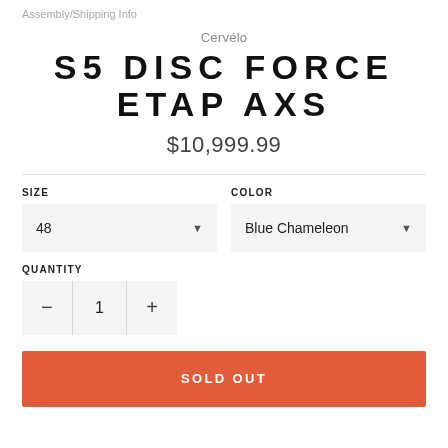Assembly/Shipping Info
Cervélo
S5 DISC FORCE ETAP AXS
$10,999.99
SIZE
48
COLOR
Blue Chameleon
QUANTITY
1
SOLD OUT